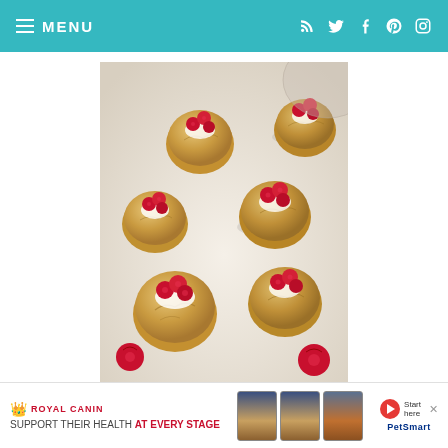MENU
[Figure (photo): Close-up photo of multiple round thumbprint cookies topped with white glaze and fresh raspberries, arranged on a light surface with fresh raspberries scattered around.]
[Figure (photo): Royal Canin advertisement banner: Support their health at every stage, with PetSmart branding.]